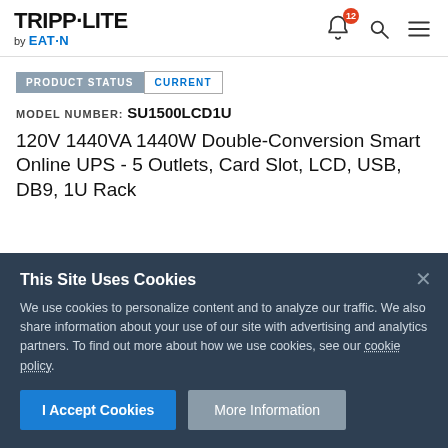[Figure (logo): Tripp-Lite by Eaton logo in top left corner]
PRODUCT STATUS  CURRENT
MODEL NUMBER: SU1500LCD1U
120V 1440VA 1440W Double-Conversion Smart Online UPS - 5 Outlets, Card Slot, LCD, USB, DB9, 1U Rack
This Site Uses Cookies
We use cookies to personalize content and to analyze our traffic. We also share information about your use of our site with advertising and analytics partners. To find out more about how we use cookies, see our cookie policy.
I Accept Cookies  More Information